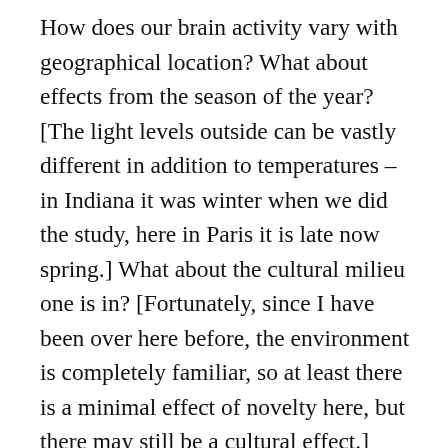How does our brain activity vary with geographical location? What about effects from the season of the year? [The light levels outside can be vastly different in addition to temperatures – in Indiana it was winter when we did the study, here in Paris it is late now spring.] What about the cultural milieu one is in? [Fortunately, since I have been over here before, the environment is completely familiar, so at least there is a minimal effect of novelty here, but there may still be a cultural effect.] What differences in activity are there for measurements taking sitting upright versus lying down? What differences in brain activity occur after a 3–4 month period of time has passed? How does one's emotional state